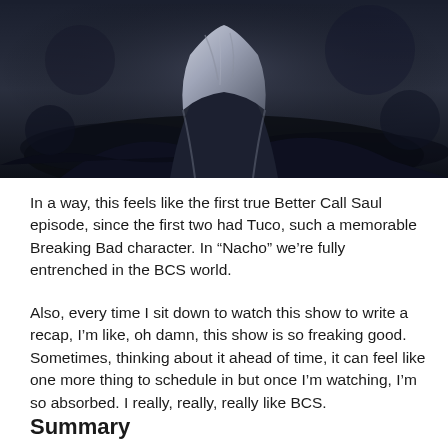[Figure (photo): Dark cinematic still from a TV show scene, showing a person in light-colored clothing against a dark background, likely from Better Call Saul]
In a way, this feels like the first true Better Call Saul episode, since the first two had Tuco, such a memorable Breaking Bad character. In “Nacho” we’re fully entrenched in the BCS world.
Also, every time I sit down to watch this show to write a recap, I’m like, oh damn, this show is so freaking good. Sometimes, thinking about it ahead of time, it can feel like one more thing to schedule in but once I’m watching, I’m so absorbed. I really, really, really like BCS.
Summary